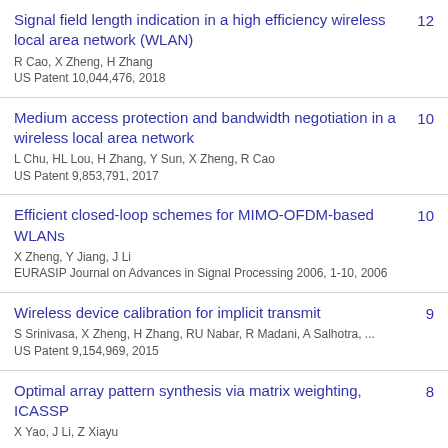Signal field length indication in a high efficiency wireless local area network (WLAN)
R Cao, X Zheng, H Zhang
US Patent 10,044,476, 2018
12
Medium access protection and bandwidth negotiation in a wireless local area network
L Chu, HL Lou, H Zhang, Y Sun, X Zheng, R Cao
US Patent 9,853,791, 2017
10
Efficient closed-loop schemes for MIMO-OFDM-based WLANs
X Zheng, Y Jiang, J Li
EURASIP Journal on Advances in Signal Processing 2006, 1-10, 2006
10
Wireless device calibration for implicit transmit
S Srinivasa, X Zheng, H Zhang, RU Nabar, R Madani, A Salhotra, ...
US Patent 9,154,969, 2015
9
Optimal array pattern synthesis via matrix weighting, ICASSP
X Yao, J Li, Z Xiayu
8